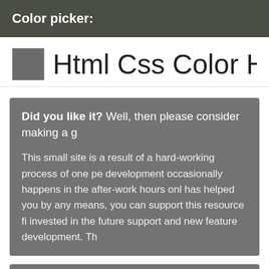Color picker:
Html Css Color HEX #6B
Did you like it? Well, then please consider making a d

This small site is a result of a hard-working process of one pe development occasionally happens in the after-work hours onl has helped you by any means, you can support this resource fi invested in the future support and new feature development. Th
[Figure (other): Gray box section at bottom of page]